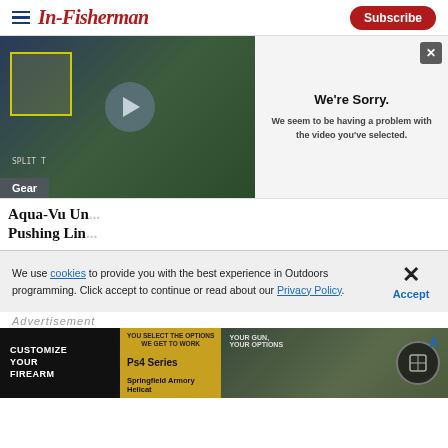In-Fisherman | Subscribe
[Figure (screenshot): Video player showing a fishing-related video with a play button overlay. An error overlay panel reads: We're Sorry. We seem to be having a problem with the video you've selected.]
Aqua-Vu Un... Pushing Lin...
Gear
We use cookies to provide you with the best experience in Outdoors programming. Click accept to continue or read about our Privacy Policy.
Advertisement
[Figure (screenshot): Advertisement banner: CUSTOMIZE YOUR FIREARM | YOU SELECT THE OPTIONS WE GET TO WORK | YOUR GUN, YOUR OPTIONS | Ps4 Series | Springfield Armory Hellcat with firearm imagery and a circular logo on the right]